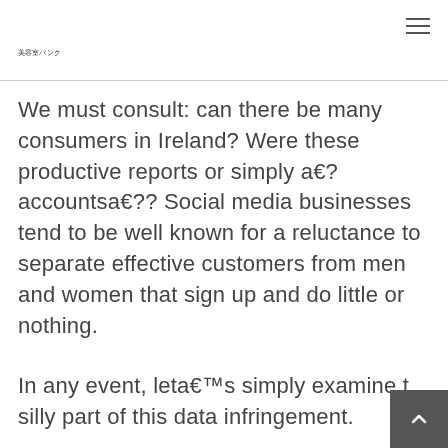美容室バンク
We must consult: can there be many consumers in Ireland? Were these productive reports or simply a€? accountsa€?? Social media businesses tend to be well known for a reluctance to separate effective customers from men and women that sign up and do little or nothing.
In any event, leta€™s simply examine the silly part of this data infringement.